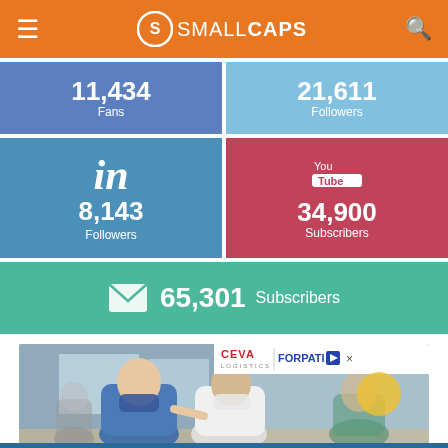Small Caps
11,434 Fans
21,611 Followers
in 8,143 Followers
YouTube 34,900 Subscribers
65,301 Subscribers
[Figure (screenshot): Advertisement banner showing people wearing masks (COVID-19 vaccination scene) with CEVA Logistics and FORPATI logos]